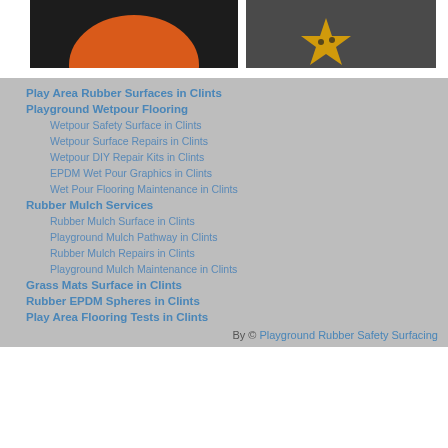[Figure (photo): Left image: orange circle on dark/black background - rubber surface photo]
[Figure (photo): Right image: yellow star-shaped graphics on dark grey rubber surface]
Play Area Rubber Surfaces in Clints
Playground Wetpour Flooring
Wetpour Safety Surface in Clints
Wetpour Surface Repairs in Clints
Wetpour DIY Repair Kits in Clints
EPDM Wet Pour Graphics in Clints
Wet Pour Flooring Maintenance in Clints
Rubber Mulch Services
Rubber Mulch Surface in Clints
Playground Mulch Pathway in Clints
Rubber Mulch Repairs in Clints
Playground Mulch Maintenance in Clints
Grass Mats Surface in Clints
Rubber EPDM Spheres in Clints
Play Area Flooring Tests in Clints
By © Playground Rubber Safety Surfacing